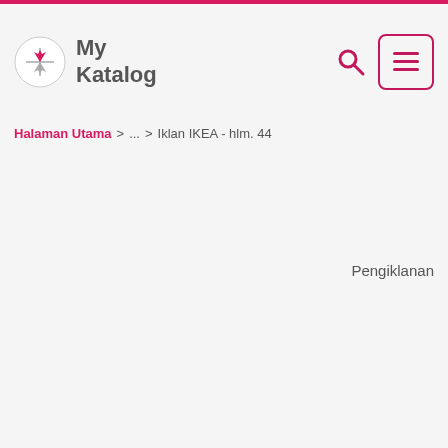My Katalog
Halaman Utama > ... > Iklan IKEA - hlm. 44
Pengiklanan